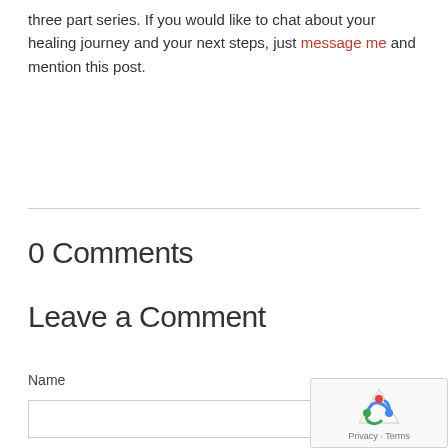three part series. If you would like to chat about your healing journey and your next steps, just message me and mention this post.
0 Comments
Leave a Comment
Name